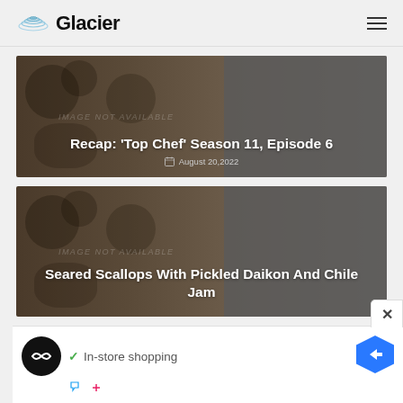Glacier
[Figure (screenshot): Article card with background food image and dark overlay: 'Recap: Top Chef Season 11, Episode 6' dated August 20, 2022]
Recap: 'Top Chef' Season 11, Episode 6
August 20,2022
[Figure (screenshot): Article card with background food image and dark overlay: 'Seared Scallops With Pickled Daikon And Chile Jam']
Seared Scallops With Pickled Daikon And Chile Jam
[Figure (screenshot): Advertisement banner with In-store shopping text, circular logo, and navigation arrow icon]